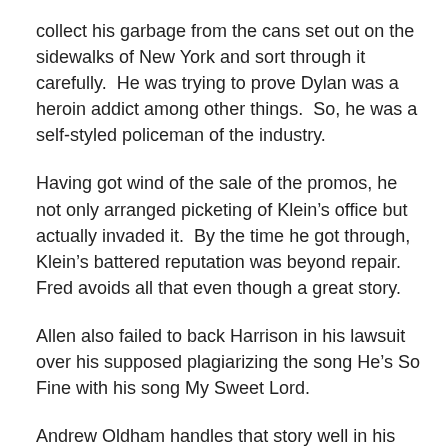collect his garbage from the cans set out on the sidewalks of New York and sort through it carefully.  He was trying to prove Dylan was a heroin addict among other things.  So, he was a self-styled policeman of the industry.
Having got wind of the sale of the promos, he not only arranged picketing of Klein’s office but actually invaded it.  By the time he got through, Klein’s battered reputation was beyond repair.  Fred avoids all that even though a great story.
Allen also failed to back Harrison in his lawsuit over his supposed plagiarizing the song He’s So Fine with his song My Sweet Lord.
Andrew Oldham handles that story well in his biography of Allen in Stone Free p. 361: